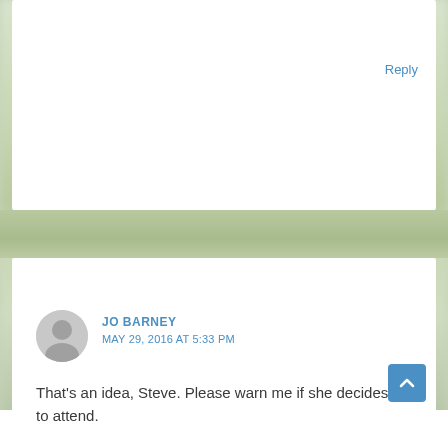Reply
JO BARNEY
MAY 29, 2016 AT 5:33 PM
That's an idea, Steve. Please warn me if she decides to attend.
Reply